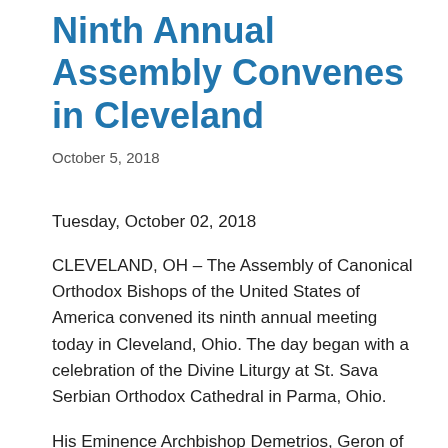Ninth Annual Assembly Convenes in Cleveland
October 5, 2018
Tuesday, October 02, 2018
CLEVELAND, OH – The Assembly of Canonical Orthodox Bishops of the United States of America convened its ninth annual meeting today in Cleveland, Ohio. The day began with a celebration of the Divine Liturgy at St. Sava Serbian Orthodox Cathedral in Parma, Ohio.
His Eminence Archbishop Demetrios, Geron of America, Chairman of the Assembly, opened the meeting with a prayer. His Eminence